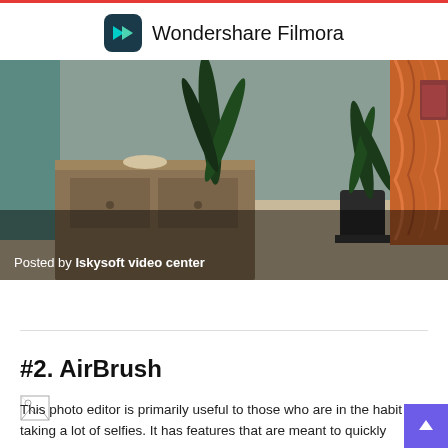Wondershare Filmora
[Figure (photo): Indoor room scene with potted plants, a wooden dresser, and orange floral curtains. Text overlay reads 'Posted by Iskysoft video center'.]
Posted by Iskysoft video center
#2. AirBrush
[Figure (photo): Broken image placeholder icon]
This photo editor is primarily useful to those who are in the habit of taking a lot of selfies. It has features that are meant to quickly remove